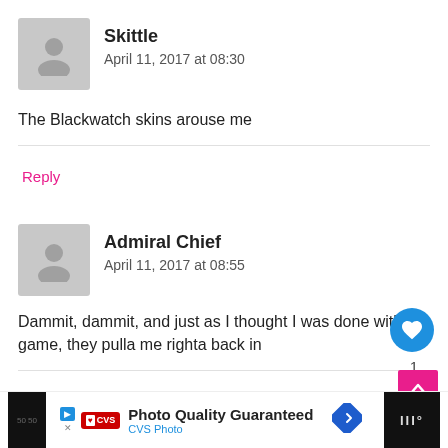Skittle
April 11, 2017 at 08:30
The Blackwatch skins arouse me
Reply
Admiral Chief
April 11, 2017 at 08:55
Dammit, dammit, and just as I thought I was done with the game, they pulla me righta back in
Reply
Matthew Holliday
April 11, 2017 at 09:16
WHAT'S NEXT → Looks like Blizzard are...
Photo Quality Guaranteed CVS Photo